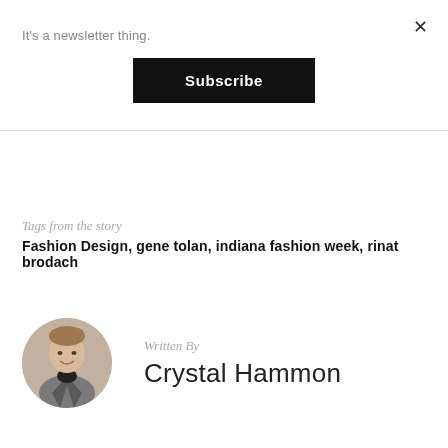It's a newsletter thing.
Subscribe
Tags from the story
Fashion Design, gene tolan, indiana fashion week, rinat brodach
Written By
Crystal Hammon
[Figure (photo): Headshot of Crystal Hammon, a woman with light brown hair pulled back, wearing a grey blazer over a dark top, arms crossed, smiling.]